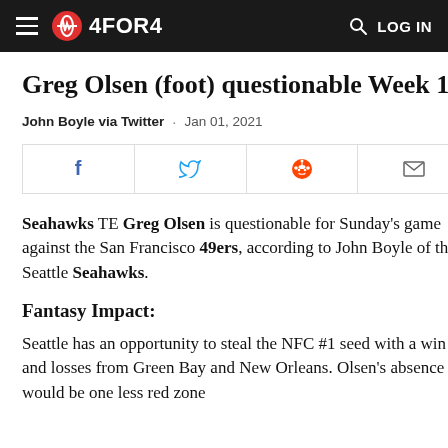4FOR4 — LOG IN
Greg Olsen (foot) questionable Week 17
John Boyle via Twitter · Jan 01, 2021
[Figure (other): Social share buttons: Facebook, Twitter, Reddit, Email]
Seahawks TE Greg Olsen is questionable for Sunday's game against the San Francisco 49ers, according to John Boyle of the Seattle Seahawks.
Fantasy Impact:
Seattle has an opportunity to steal the NFC #1 seed with a win and losses from Green Bay and New Orleans. Olsen's absence would be one less red zone option for Russell Wil...